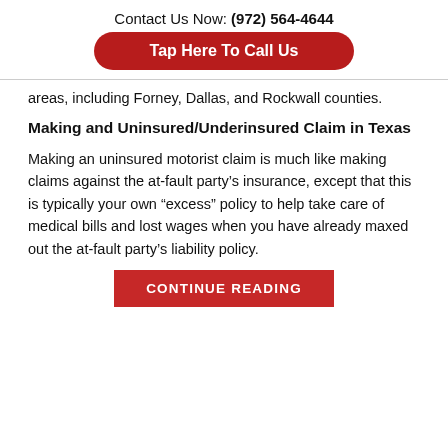Contact Us Now: (972) 564-4644
Tap Here To Call Us
areas, including Forney, Dallas, and Rockwall counties.
Making and Uninsured/Underinsured Claim in Texas
Making an uninsured motorist claim is much like making claims against the at-fault party’s insurance, except that this is typically your own “excess” policy to help take care of medical bills and lost wages when you have already maxed out the at-fault party’s liability policy.
CONTINUE READING